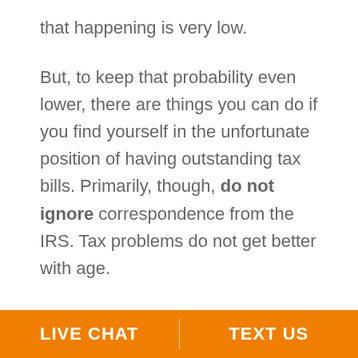that happening is very low.
But, to keep that probability even lower, there are things you can do if you find yourself in the unfortunate position of having outstanding tax bills. Primarily, though, do not ignore correspondence from the IRS. Tax problems do not get better with age.
If you are reluctant to open mail with that logo in the upper left corner of the envelope, immediately contact a professional who works with the IRS on a
LIVE CHAT | TEXT US